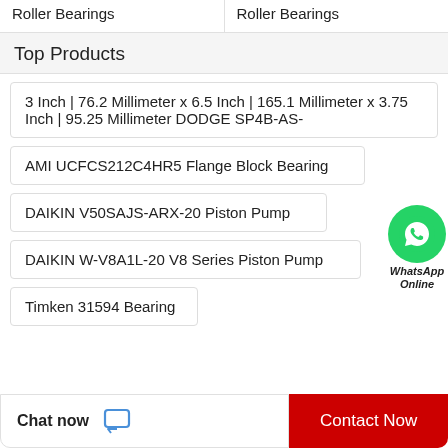Roller Bearings
Roller Bearings
Top Products
3 Inch | 76.2 Millimeter x 6.5 Inch | 165.1 Millimeter x 3.75 Inch | 95.25 Millimeter DODGE SP4B-AS-
AMI UCFCS212C4HR5 Flange Block Bearing
DAIKIN V50SAJS-ARX-20 Piston Pump
DAIKIN W-V8A1L-20 V8 Series Piston Pump
Timken 31594 Bearing
[Figure (illustration): WhatsApp Online green circle chat bubble with phone icon and text 'WhatsApp Online']
Chat now
Contact Now